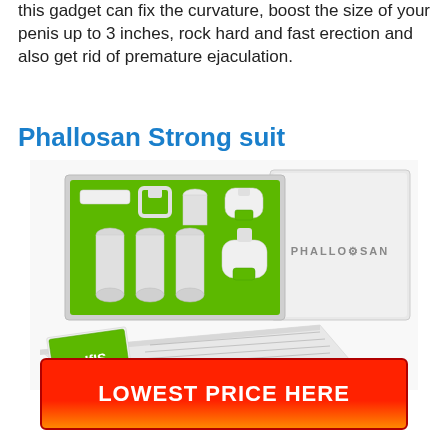this gadget can fix the curvature, boost the size of your penis up to 3 inches, rock hard and fast erection and also get rid of premature ejaculation.
Phallosan Strong suit
[Figure (photo): Phallosan product kit showing components in green-lined box with accessories and instruction booklet, plus branded white box with PHALLOSAN text]
LOWEST PRICE HERE